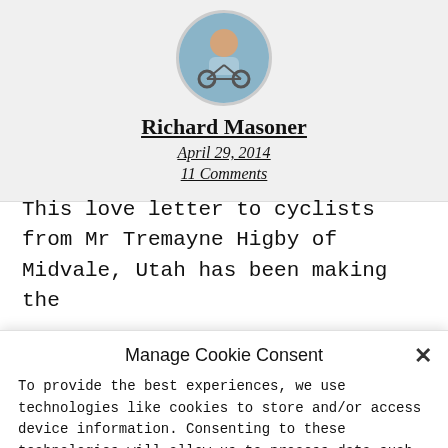[Figure (photo): Circular avatar photo of a person (Richard Masoner) on a bicycle, wearing a light blue shirt, with a blue sky background.]
Richard Masoner
April 29, 2014
11 Comments
This love letter to cyclists from Mr Tremayne Higby of Midvale, Utah has been making the
Manage Cookie Consent
To provide the best experiences, we use technologies like cookies to store and/or access device information. Consenting to these technologies will allow us to process data such as browsing behavior or unique IDs on this site. Not consenting or withdrawing consent, may adversely affect certain features and functions.
Accept